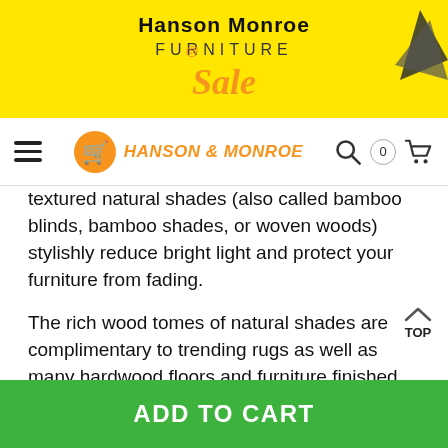[Figure (logo): Hanson Monroe Furniture Sale banner on yellow background with logo]
HANSON & MONROE - navigation bar with hamburger menu, logo, search, cart
textured natural shades (also called bamboo blinds, bamboo shades, or woven woods) stylishly reduce bright light and protect your furniture from fading.
The rich wood tomes of natural shades are complimentary to trending rugs as well as many hardwood floors and furniture finished.
Natural shades are textured window blinds that are available in many different colors and styles.
They are popular window treatments for coastal an